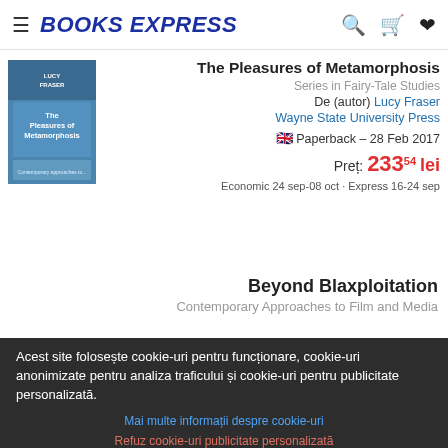☰ BOOKS EXPRESS
The Pleasures of Metamorphosis
Series in Fairy-Tale Studies
De (autor) Lucy Fraser
Wayne State University Press
🇬🇧 Paperback – 28 Feb 2017
Preț: 233⁵⁴ lei
Economic 24 sep-08 oct · Express 16-24 sep
Beyond Blaxploitation
Contemporary Approaches to Film and Media
Acest site folosește cookie-uri pentru funcționare, cookie-uri anonimizate pentru analiza traficului și cookie-uri pentru publicitate personalizată.
Mai multe informații despre cookie-uri
Refuz cookie-uri publicitate personalizată
Accept cookie-uri